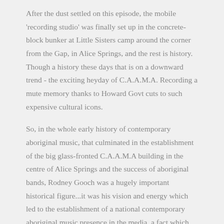After the dust settled on this episode, the mobile 'recording studio' was finally set up in the concrete-block bunker at Little Sisters camp around the corner from the Gap, in Alice Springs, and the rest is history. Though a history these days that is on a downward trend - the exciting heyday of C.A.A.M.A. Recording a mute memory thanks to Howard Govt cuts to such expensive cultural icons.
So, in the whole early history of contemporary aboriginal music, that culminated in the establishment of the big glass-fronted C.A.A.M.A building in the centre of Alice Springs and the success of aboriginal bands, Rodney Gooch was a hugely important historical figure...it was his vision and energy which led to the establishment of a national contemporary aboriginal music presence in the media, a fact which goes largely unsung.
His later even more important work with aboriginal visual artists is much better recorded (see below). One could suspect